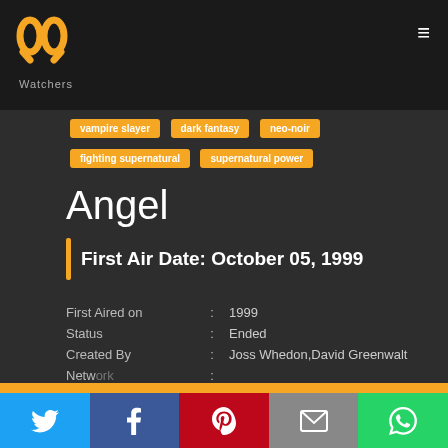PP Watchers logo and navigation
vampire slayer
dark fantasy
neo-noir
fighting supernatural
supernatural power
Angel
First Air Date: October 05, 1999
| Field | : | Value |
| --- | --- | --- |
| First Aired on | : | 1999 |
| Status | : | Ended |
| Created By | : | Joss Whedon,David Greenwalt |
| Network | : |  |
| Genre | : |  |
| Seasons | : |  |
1 user is watching this TV Show right now!
Twitter | Facebook | Pinterest | Email | WhatsApp